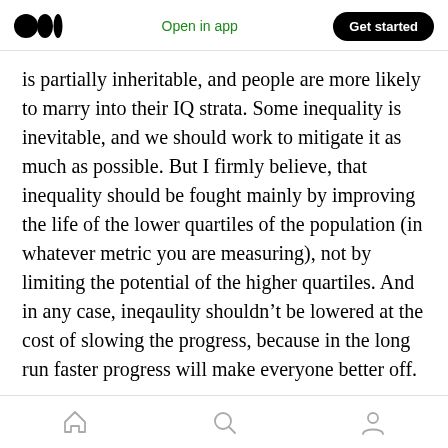Medium logo | Open in app | Get started
is partially inheritable, and people are more likely to marry into their IQ strata. Some inequality is inevitable, and we should work to mitigate it as much as possible. But I firmly believe, that inequality should be fought mainly by improving the life of the lower quartiles of the population (in whatever metric you are measuring), not by limiting the potential of the higher quartiles. And in any case, ineqaulity shouldn’t be lowered at the cost of slowing the progress, because in the long run faster progress will make everyone better off.
Home | Search | Profile